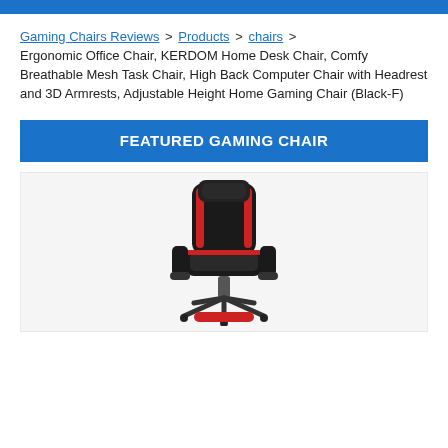Gaming Chairs Reviews > Products > chairs > Ergonomic Office Chair, KERDOM Home Desk Chair, Comfy Breathable Mesh Task Chair, High Back Computer Chair with Headrest and 3D Armrests, Adjustable Height Home Gaming Chair (Black-F)
FEATURED GAMING CHAIR
[Figure (photo): A black and red gaming chair with high back, headrest, armrests, and footrest on a light gray background]